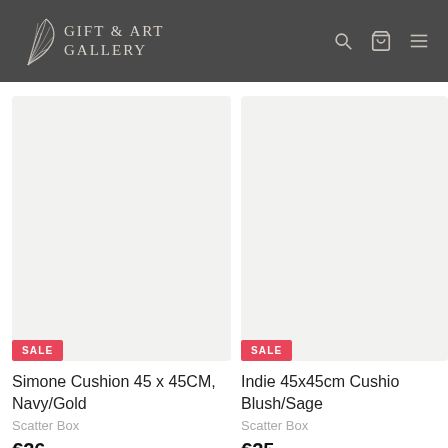Gift & Art Gallery
[Figure (screenshot): Product card 1: Simone Cushion 45 x 45CM, Navy/Gold with SALE badge, brand Scatter Box, price €26.99]
[Figure (screenshot): Product card 2 (partially visible): Indie 45x45cm Cushion Blush/Sage with SALE badge, brand Scatter Box, price €25.99]